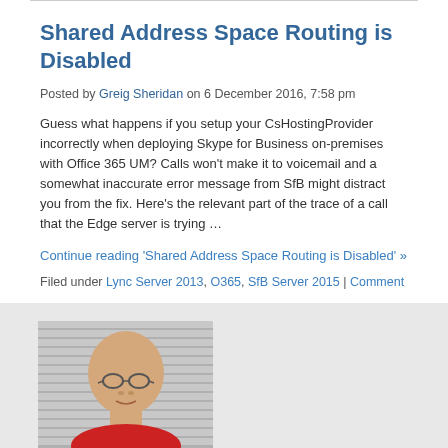Shared Address Space Routing is Disabled
Posted by Greig Sheridan on 6 December 2016, 7:58 pm
Guess what happens if you setup your CsHostingProvider incorrectly when deploying Skype for Business on-premises with Office 365 UM? Calls won't make it to voicemail and a somewhat inaccurate error message from SfB might distract you from the fix. Here's the relevant part of the trace of a call that the Edge server is trying …
Continue reading 'Shared Address Space Routing is Disabled' »
Filed under Lync Server 2013, O365, SfB Server 2015 | Comment
[Figure (photo): Portrait photo of a bald man wearing glasses and a red top, photographed in front of horizontal blinds]